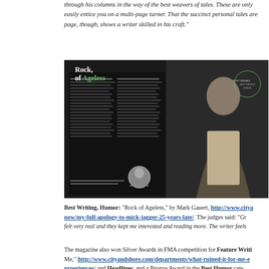through his columns in the way of the best weavers of tales. These are only easily entice you on a multi-page turner. That the succinct personal tales are page, though, shows a writer skilled in his craft."
[Figure (photo): Magazine spread showing 'Rock of Ageless' article with photo of Mick Jagger in a suit on dark background, with article text columns on the left side]
Best Writing, Humor: "Rock of Ageless," by Mark Gauert, http://www.cityanow/my-full-apology-to-mick-jagger-25-years-late/. The judges said: "Gr felt very real and they kept me interested and reading more. The writer feels
The magazine also won Silver Awards in FMA competition for Feature Writing Me," http://www.cityandshore.com/departments/what-ruined-it-for-me-e experiences/ and Headlines; and a Bronze Award in the Best Humor cate